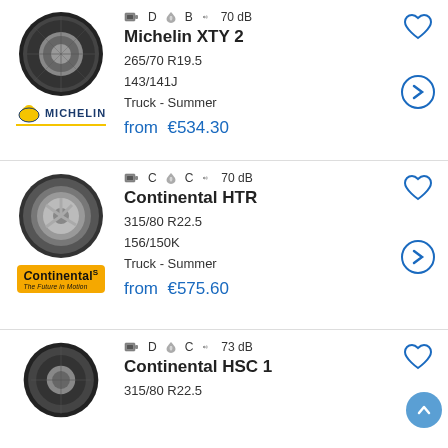[Figure (illustration): Product listing card for Michelin XTY 2 tire with tire image, brand logo, ratings (D, B, 70dB), price from €534.30]
[Figure (illustration): Product listing card for Continental HTR tire with tire image, brand logo, ratings (C, C, 70dB), price from €575.60]
[Figure (illustration): Product listing card for Continental HSC 1 tire with tire image, ratings (D, C, 73dB), partially visible]